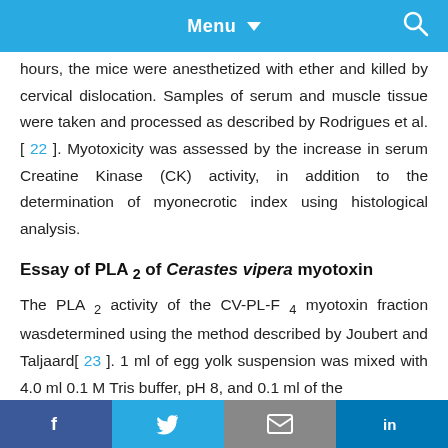Menu
hours, the mice were anesthetized with ether and killed by cervical dislocation. Samples of serum and muscle tissue were taken and processed as described by Rodrigues et al. [ 22 ]. Myotoxicity was assessed by the increase in serum Creatine Kinase (CK) activity, in addition to the determination of myonecrotic index using histological analysis.
Essay of PLA 2 of Cerastes vipera myotoxin
The PLA 2 activity of the CV-PL-F 4 myotoxin fraction wasdetermined using the method described by Joubert and Taljaard[ 23 ]. 1 ml of egg yolk suspension was mixed with 4.0 ml 0.1 M Tris buffer, pH 8, and 0.1 ml of the
f  Twitter  Email  in